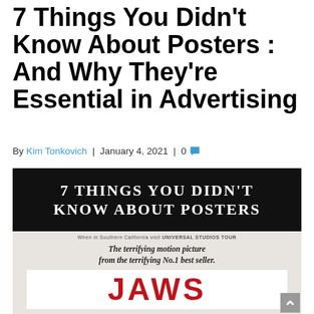7 Things You Didn't Know About Posters : And Why They're Essential in Advertising
By Kim Tonkovich | January 4, 2021 | 0
[Figure (illustration): A composite poster image with a black background top section showing bold white serif text '7 THINGS YOU DIDN'T KNOW ABOUT POSTERS', and a lower section showing a vintage Jaws movie advertisement with tagline 'The terrifying motion picture from the terrifying No.1 best seller.' and the JAWS logo in red on white.]